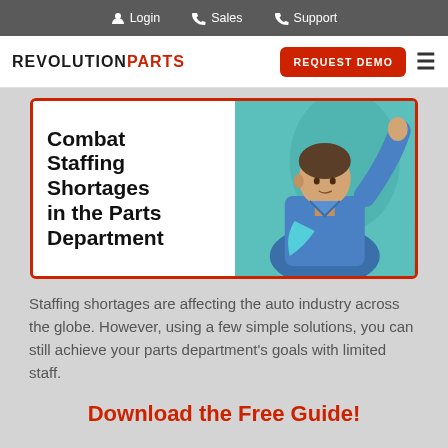Login   Sales   Support
[Figure (logo): RevolutionParts logo with REVOLUTION in black and PARTS in red, followed by a red REQUEST DEMO button and hamburger menu icon]
[Figure (illustration): Guide cover image showing bold text 'Combat Staffing Shortages in the Parts Department' on white background with a photo of a mechanic in blue shirt on teal background, framed with a red border]
Staffing shortages are affecting the auto industry across the globe. However, using a few simple solutions, you can still achieve your parts department's goals with limited staff.
Download the Free Guide!